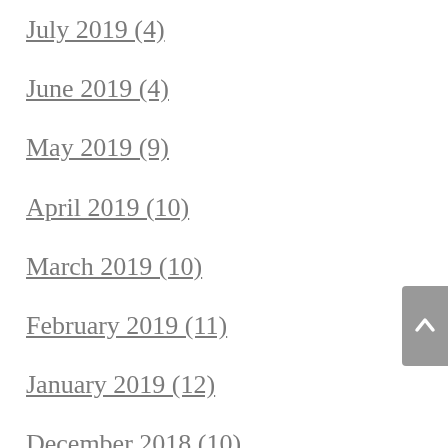July 2019 (4)
June 2019 (4)
May 2019 (9)
April 2019 (10)
March 2019 (10)
February 2019 (11)
January 2019 (12)
December 2018 (10)
November 2018 (2)